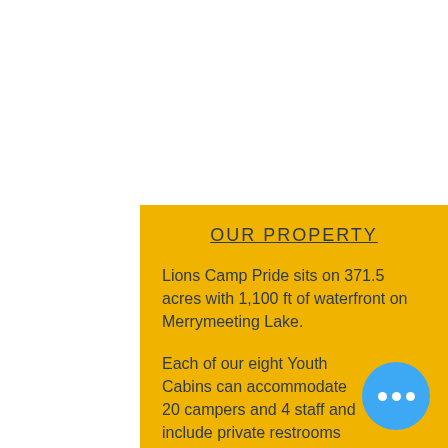OUR PROPERTY
Lions Camp Pride sits on 371.5 acres with 1,100 ft of waterfront on Merrymeeting Lake.
Each of our eight Youth Cabins can accommodate 20 campers and 4 staff and include private restrooms and showers. Our dining hall can seat 150